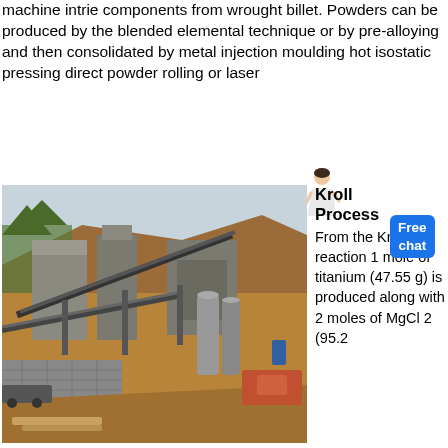machine intrie components from wrought billet. Powders can be produced by the blended elemental technique or by pre-alloying and then consolidated by metal injection moulding hot isostatic pressing direct powder rolling or laser
[Figure (photo): Outdoor photo of an industrial mining or processing plant with heavy machinery, conveyor belts, concrete structures, and earthworks on a hillside.]
Kroll Process
From the Kroll reaction 1 mole of titanium (47.55 g) is produced along with 2 moles of MgCl 2 (95.2